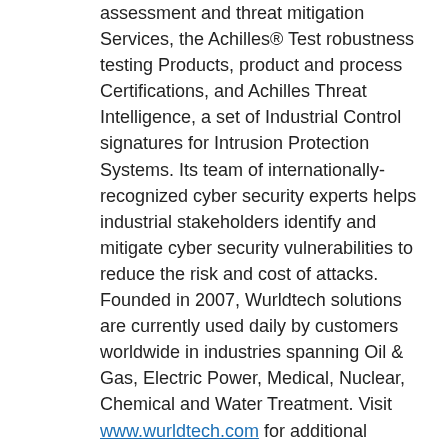assessment and threat mitigation Services, the Achilles® Test robustness testing Products, product and process Certifications, and Achilles Threat Intelligence, a set of Industrial Control signatures for Intrusion Protection Systems. Its team of internationally-recognized cyber security experts helps industrial stakeholders identify and mitigate cyber security vulnerabilities to reduce the risk and cost of attacks. Founded in 2007, Wurldtech solutions are currently used daily by customers worldwide in industries spanning Oil & Gas, Electric Power, Medical, Nuclear, Chemical and Water Treatment. Visit www.wurldtech.com for additional information.
About Siemens
Siemens AG (Berlin and Munich) is a global powerhouse in electronics and electrical